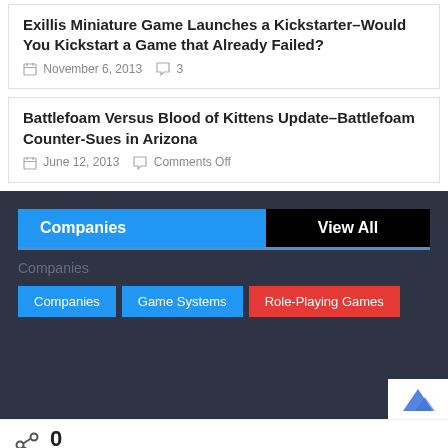Exillis Miniature Game Launches a Kickstarter–Would You Kickstart a Game that Already Failed?
November 6, 2013   3
Battlefoam Versus Blood of Kittens Update–Battlefoam Counter-Sues in Arizona
June 12, 2013   Comments Off
Companies
View All
Companies
Companies
Game Systems
Role-Playing Games
0
SHARES